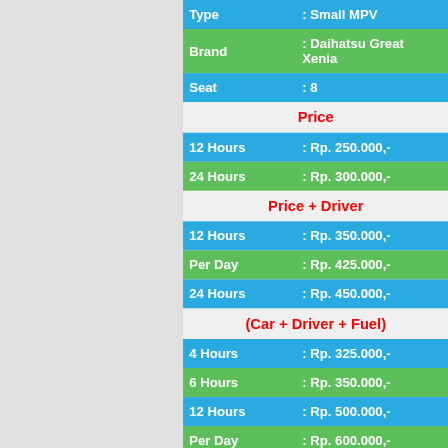| Field | Value |
| --- | --- |
| Type | : Small MPV |
| Brand | : Daihatsu Great Xenia |
| Seat | : 8 |
Price
| Duration | Price |
| --- | --- |
| 12 Hours | : Rp. 250.000,- |
| 24 Hours | : Rp. 300.000,- |
Price + Driver
| Duration | Price |
| --- | --- |
| 12 Hours | : Rp. 350.000,- |
| Per Day | : Rp. 425.000,- |
| 24 Hours | : Rp. 450.000,- |
(Car + Driver + Fuel)
| Duration | Price |
| --- | --- |
| 4 Hours | : Rp. 325.000,- |
| 6 Hours | : Rp. 350.000,- |
| 12 Hours | : Rp. 500.000,- |
| Per Day | : Rp. 600.000,- |
| 24 Hours | : Rp. 650.000,- |
Price All In One
| Duration | Price |
| --- | --- |
| 4 Hours | : Rp. 375.000,- |
| 6 Hours | : Rp. 400.000,- |